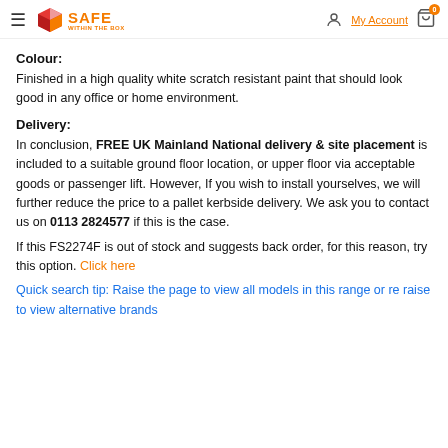Safe Within The Box — My Account, Cart (0)
Colour:
Finished in a high quality white scratch resistant paint that should look good in any office or home environment.
Delivery:
In conclusion, FREE UK Mainland National delivery & site placement is included to a suitable ground floor location, or upper floor via acceptable goods or passenger lift. However, If you wish to install yourselves, we will further reduce the price to a pallet kerbside delivery. We ask you to contact us on 0113 2824577 if this is the case.
If this FS2274F is out of stock and suggests back order, for this reason, try this option. Click here
Quick search tip: Raise the page to view all models in this range or re raise to view alternative brands